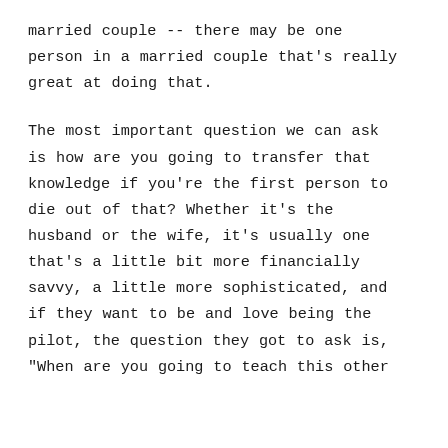married couple -- there may be one person in a married couple that's really great at doing that.
The most important question we can ask is how are you going to transfer that knowledge if you're the first person to die out of that? Whether it's the husband or the wife, it's usually one that's a little bit more financially savvy, a little more sophisticated, and if they want to be and love being the pilot, the question they got to ask is, "When are you going to teach this other